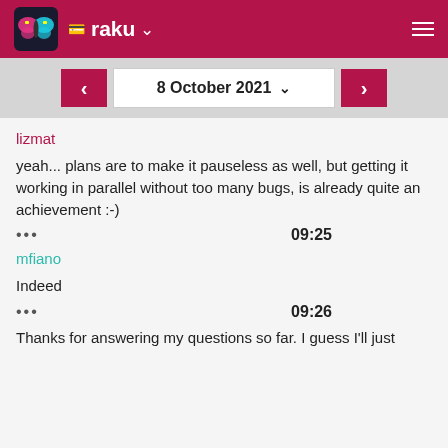raku
8 October 2021
lizmat
yeah... plans are to make it pauseless as well, but getting it working in parallel without too many bugs, is already quite an achievement :-)
09:25
mfiano
Indeed
09:26
Thanks for answering my questions so far. I guess I'll just